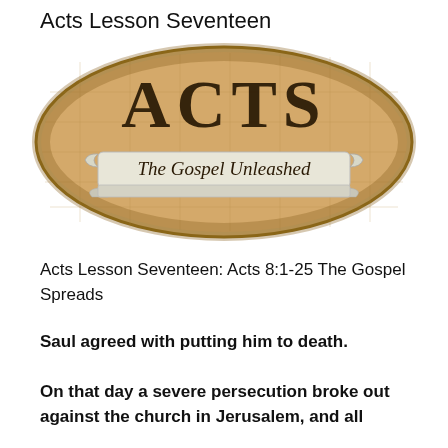Acts Lesson Seventeen
[Figure (illustration): Oval badge/logo with aged map background. Large serif text 'ACTS' at top, scroll banner below reading 'The Gospel Unleashed' in cursive script. Tan/brown parchment color scheme.]
Acts Lesson Seventeen: Acts 8:1-25 The Gospel Spreads
Saul agreed with putting him to death.
On that day a severe persecution broke out against the church in Jerusalem, and all